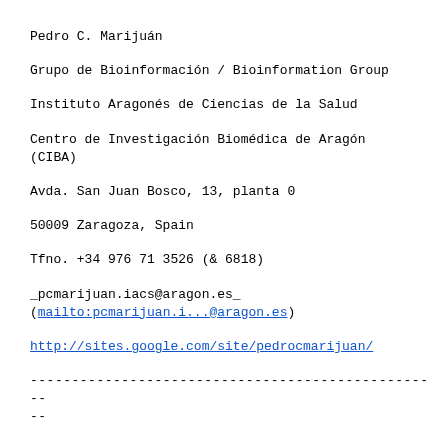Pedro C. Marijuán
Grupo de Bioinformación / Bioinformation Group
Instituto Aragonés de Ciencias de la Salud
Centro de Investigación Biomédica de Aragón (CIBA)
Avda. San Juan Bosco, 13, planta 0
50009 Zaragoza, Spain
Tfno. +34 976 71 3526 (& 6818)
_pcmarijuan.iacs@aragon.es_ (mailto:pcmarijuan.i...@aragon.es)
http://sites.google.com/site/pedrocmarijuan/
-------------------------------------------------- --